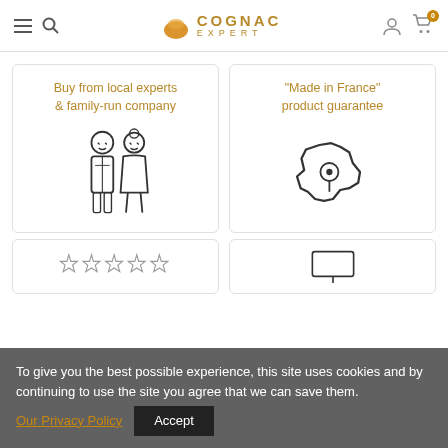Cognac Expert
Buy from local experts & family-run company
[Figure (illustration): Two figures: a man and a woman, outline icon style]
"Made in France" product guarantee
[Figure (illustration): Outline icon of France map with a location pin]
To give you the best possible experience, this site uses cookies and by continuing to use the site you agree that we can save them.
Our Privacy Policy
Accept